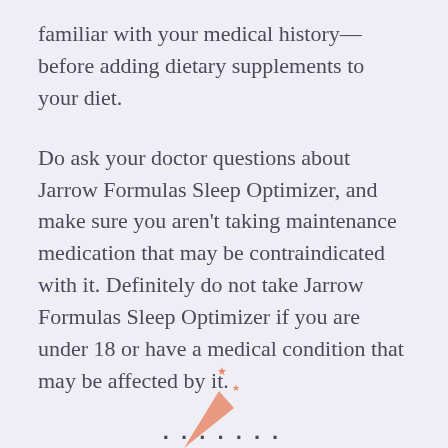familiar with your medical history—before adding dietary supplements to your diet.
Do ask your doctor questions about Jarrow Formulas Sleep Optimizer, and make sure you aren't taking maintenance medication that may be contraindicated with it. Definitely do not take Jarrow Formulas Sleep Optimizer if you are under 18 or have a medical condition that may be affected by it.
[Figure (logo): Partial logo at bottom of page with orange/salmon colored rocket or shooting star graphic and partial text]